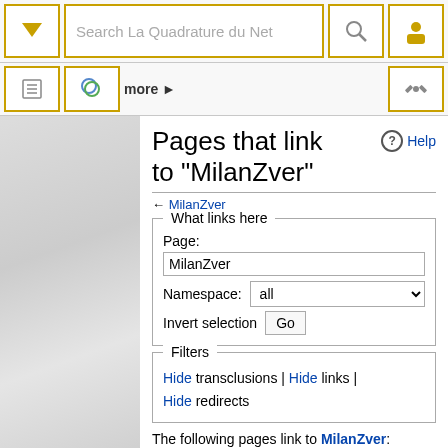Search La Quadrature du Net
Pages that link to "MilanZver"
← MilanZver
What links here
Page: MilanZver Namespace: all Invert selection Go
Filters
Hide transclusions | Hide links | Hide redirects
The following pages link to MilanZver:
View (previous 50 | next 50) (20 | 50 |